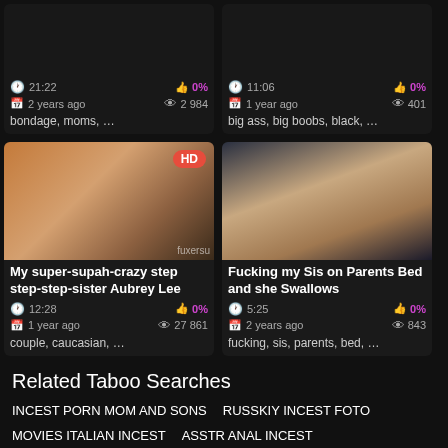[Figure (screenshot): Video thumbnail top-left, dark background, 21:22 duration, 0%, 2 years ago, 2 984 views]
bondage, moms, …
[Figure (screenshot): Video thumbnail top-right, dark background, 11:06 duration, 0%, 1 year ago, 401 views]
big ass, big boobs, black, …
[Figure (photo): HD video thumbnail, girl with brown hair, fuxersu watermark]
My super-supah-crazy step step-step-sister Aubrey Lee
couple, caucasian, …
[Figure (photo): Video thumbnail, dark blue tones, female figure]
Fucking my Sis on Parents Bed and she Swallows
fucking, sis, parents, bed, …
Related Taboo Searches
INCEST PORN MOM AND SONS
RUSSKIY INCEST FOTO
MOVIES ITALIAN INCEST
ASSTR ANAL INCEST